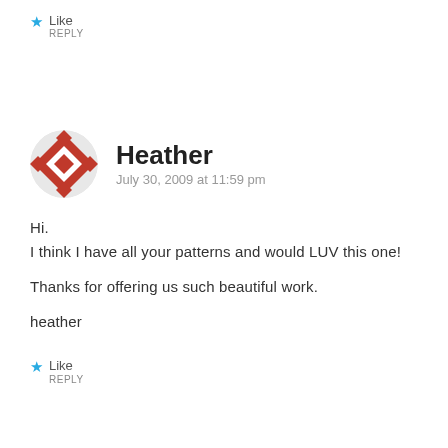Like REPLY
Heather
July 30, 2009 at 11:59 pm
Hi.
I think I have all your patterns and would LUV this one!

Thanks for offering us such beautiful work.

heather
Like REPLY